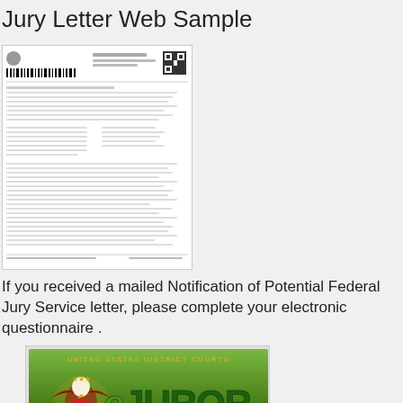Jury Letter Web Sample
[Figure (photo): Thumbnail preview of a mailed Notification of Potential Federal Jury Service letter document]
If you received a mailed Notification of Potential Federal Jury Service letter, please complete your electronic questionnaire .
[Figure (illustration): eJUROR banner for United States District Courts with eagle seal and CLICK HERE call to action on green background]
Complete your juror qualification online!
[Figure (illustration): Handbook for Trial banner with teal background and partial eagle seal]